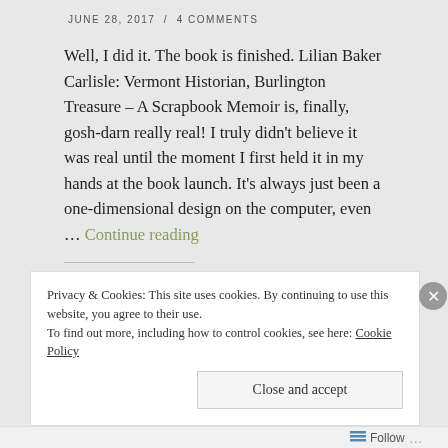JUNE 28, 2017 / 4 COMMENTS
Well, I did it. The book is finished. Lilian Baker Carlisle: Vermont Historian, Burlington Treasure – A Scrapbook Memoir is, finally, gosh-darn really real! I truly didn't believe it was real until the moment I first held it in my hands at the book launch. It's always just been a one-dimensional design on the computer, even … Continue reading
Share this:
Privacy & Cookies: This site uses cookies. By continuing to use this website, you agree to their use.
To find out more, including how to control cookies, see here: Cookie Policy
Close and accept
Follow